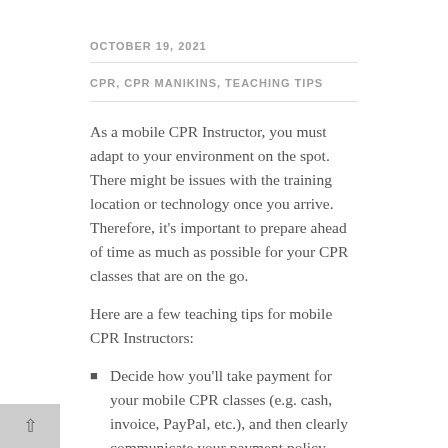OCTOBER 19, 2021
CPR, CPR MANIKINS, TEACHING TIPS
As a mobile CPR Instructor, you must adapt to your environment on the spot. There might be issues with the training location or technology once you arrive. Therefore, it’s important to prepare ahead of time as much as possible for your CPR classes that are on the go.
Here are a few teaching tips for mobile CPR Instructors:
Decide how you’ll take payment for your mobile CPR classes (e.g. cash, invoice, PayPal, etc.), and then clearly communicate your payment policy before traveling.
Choose travel-friendly CPR manikins.